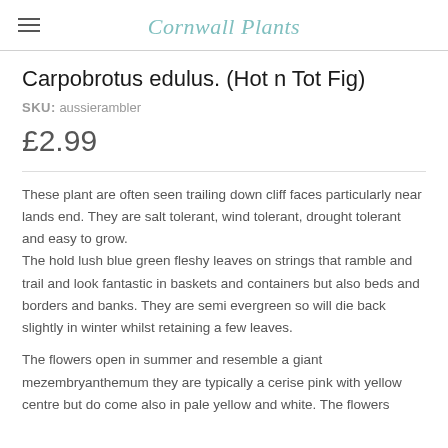Cornwall Plants
Carpobrotus edulus. (Hot n Tot Fig)
SKU: aussierambler
£2.99
These plant are often seen trailing down cliff faces particularly near lands end. They are salt tolerant, wind tolerant, drought tolerant and easy to grow.
The hold lush blue green fleshy leaves on strings that ramble and trail and look fantastic in baskets and containers but also beds and borders and banks. They are semi evergreen so will die back slightly in winter whilst retaining a few leaves.
The flowers open in summer and resemble a giant mezembryanthemum they are typically a cerise pink with yellow centre but do come also in pale yellow and white. The flowers